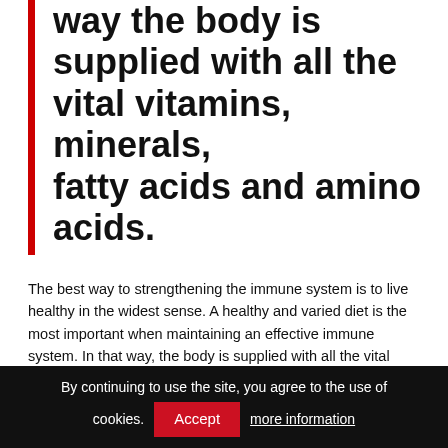way the body is supplied with all the vital vitamins, minerals, fatty acids and amino acids.
The best way to strengthening the immune system is to live healthy in the widest sense. A healthy and varied diet is the most important when maintaining an effective immune system. In that way, the body is supplied with all the vital vitamins, minerals, fatty acids and amino acids. Shortage of only one of the substances, for example, zinc, will cause problems with several hundred different enzyme processes.
By continuing to use the site, you agree to the use of cookies. Accept more information